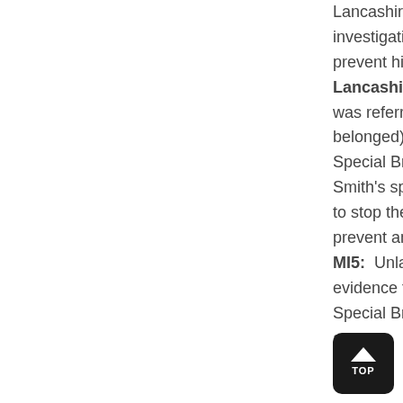Lancashire Police CID investigation into Smith to prevent his arrest Lancashire Police: Smith's case was referred from CID (where it belonged), to Lancashire Police Special Branch (because of Smith's special protected status) to stop the investigation and prevent any prosecution. MI5:  Unlawfully removed files of evidence from Lancashire Police Special Branch to prevent Smith's arrest